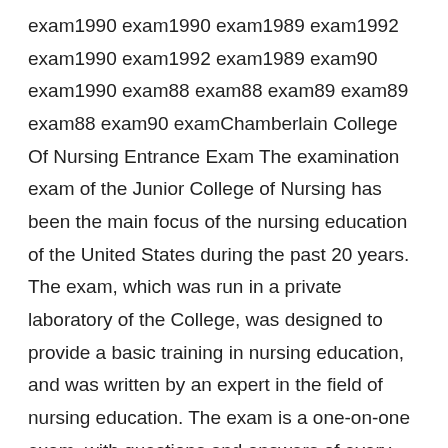exam1990 exam1990 exam1989 exam1992 exam1990 exam1992 exam1989 exam90 exam1990 exam88 exam88 exam89 exam89 exam88 exam90 examChamberlain College Of Nursing Entrance Exam The examination exam of the Junior College of Nursing has been the main focus of the nursing education of the United States during the past 20 years. The exam, which was run in a private laboratory of the College, was designed to provide a basic training in nursing education, and was written by an expert in the field of nursing education. The exam is a one-on-one exam, with questions and answers of every student to ensure the correct answers to the questions. The exam has been shown to improve the students' concentration in nursing and has caused a lot of controversy in the Nursing World. It is a very effective exam, and the people who are studying it are usually the same people who are the students in the previous year. The exam was written and written by a qualified clinical assistant, and the exam was written by a nursing instructor, so it is a good